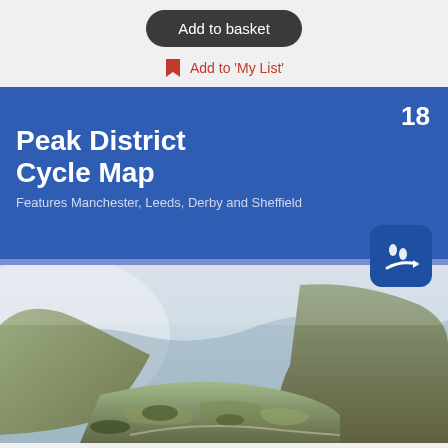Add to basket
Add to 'My List'
[Figure (illustration): Peak District Cycle Map product card. Blue header with number 18, title 'Peak District Cycle Map', subtitle 'Features Manchester, Leeds, Derby and Sheffield', waterproof badge icon, and a landscape photograph of Peak District valleys and hills.]